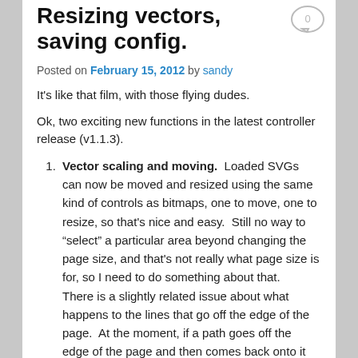Resizing vectors, saving config.
Posted on February 15, 2012 by sandy
It's like that film, with those flying dudes.
Ok, two exciting new functions in the latest controller release (v1.1.3).
Vector scaling and moving. Loaded SVGs can now be moved and resized using the same kind of controls as bitmaps, one to move, one to resize, so that's nice and easy. Still no way to “select” a particular area beyond changing the page size, and that's not really what page size is for, so I need to do something about that.
There is a slightly related issue about what happens to the lines that go off the edge of the page. At the moment, if a path goes off the edge of the page and then comes back onto it then there's a slightly unpredictable line between the exit and the reentry